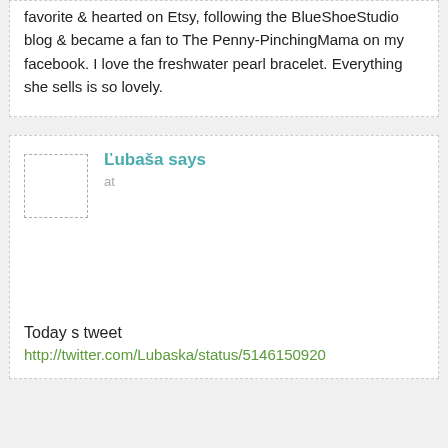favorite & hearted on Etsy, following the BlueShoeStudio blog & became a fan to The Penny-PinchingMama on my facebook. I love the freshwater pearl bracelet. Everything she sells is so lovely.
Ľubaša says
at
Today s tweet
http://twitter.com/Lubaska/status/5146150920